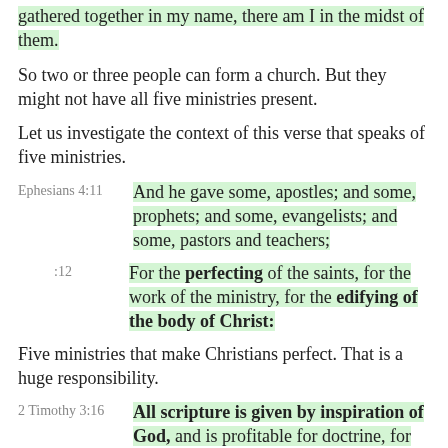gathered together in my name, there am I in the midst of them.
So two or three people can form a church. But they might not have all five ministries present.
Let us investigate the context of this verse that speaks of five ministries.
Ephesians 4:11  And he gave some, apostles; and some, prophets; and some, evangelists; and some, pastors and teachers;
:12  For the perfecting of the saints, for the work of the ministry, for the edifying of the body of Christ:
Five ministries that make Christians perfect. That is a huge responsibility.
2 Timothy 3:16  All scripture is given by inspiration of God, and is profitable for doctrine, for reproof, for correction, for instruction in righteousness:
:17  That the man of God may be perfect,